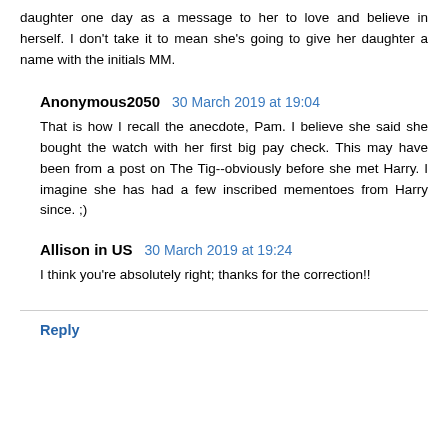daughter one day as a message to her to love and believe in herself. I don't take it to mean she's going to give her daughter a name with the initials MM.
Anonymous2050   30 March 2019 at 19:04
That is how I recall the anecdote, Pam. I believe she said she bought the watch with her first big pay check. This may have been from a post on The Tig--obviously before she met Harry. I imagine she has had a few inscribed mementoes from Harry since. ;)
Allison in US   30 March 2019 at 19:24
I think you're absolutely right; thanks for the correction!!
Reply